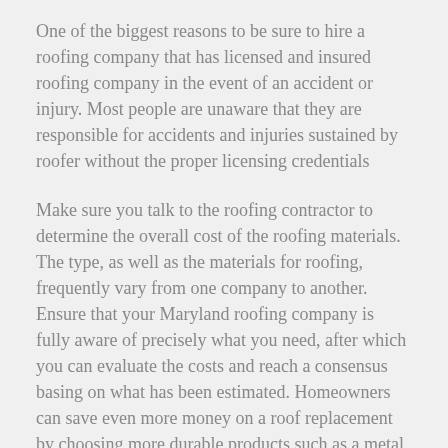One of the biggest reasons to be sure to hire a roofing company that has licensed and insured roofing company in the event of an accident or injury. Most people are unaware that they are responsible for accidents and injuries sustained by roofer without the proper licensing credentials
Make sure you talk to the roofing contractor to determine the overall cost of the roofing materials. The type, as well as the materials for roofing, frequently vary from one company to another. Ensure that your Maryland roofing company is fully aware of precisely what you need, after which you can evaluate the costs and reach a consensus basing on what has been estimated. Homeowners can save even more money on a roof replacement by choosing more durable products such as a metal roof.
One good thing about this form of roofing is the low maintenance costs. This means you won't have to come up with money every year to pay for upgrades. There